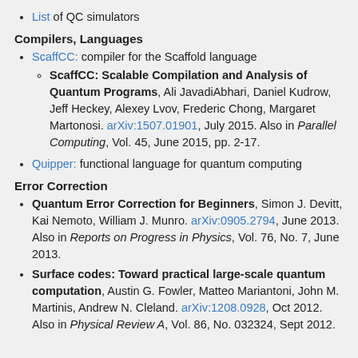List of QC simulators
Compilers, Languages
ScaffCC: compiler for the Scaffold language
ScaffCC: Scalable Compilation and Analysis of Quantum Programs, Ali JavadiAbhari, Daniel Kudrow, Jeff Heckey, Alexey Lvov, Frederic Chong, Margaret Martonosi. arXiv:1507.01901, July 2015. Also in Parallel Computing, Vol. 45, June 2015, pp. 2-17.
Quipper: functional language for quantum computing
Error Correction
Quantum Error Correction for Beginners, Simon J. Devitt, Kai Nemoto, William J. Munro. arXiv:0905.2794, June 2013. Also in Reports on Progress in Physics, Vol. 76, No. 7, June 2013.
Surface codes: Toward practical large-scale quantum computation, Austin G. Fowler, Matteo Mariantoni, John M. Martinis, Andrew N. Cleland. arXiv:1208.0928, Oct 2012. Also in Physical Review A, Vol. 86, No. 032324, Sept 2012.